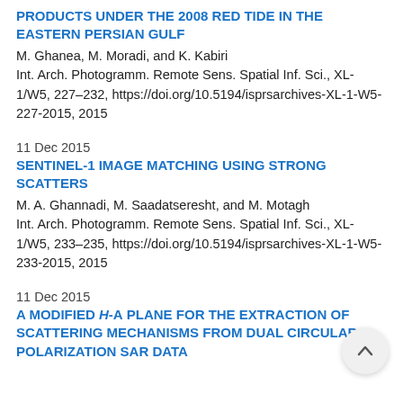PRODUCTS UNDER THE 2008 RED TIDE IN THE EASTERN PERSIAN GULF
M. Ghanea, M. Moradi, and K. Kabiri
Int. Arch. Photogramm. Remote Sens. Spatial Inf. Sci., XL-1/W5, 227–232, https://doi.org/10.5194/isprsarchives-XL-1-W5-227-2015, 2015
11 Dec 2015
SENTINEL-1 IMAGE MATCHING USING STRONG SCATTERS
M. A. Ghannadi, M. Saadatseresht, and M. Motagh
Int. Arch. Photogramm. Remote Sens. Spatial Inf. Sci., XL-1/W5, 233–235, https://doi.org/10.5194/isprsarchives-XL-1-W5-233-2015, 2015
11 Dec 2015
A MODIFIED H-α PLANE FOR THE EXTRACTION OF SCATTERING MECHANISMS FROM DUAL CIRCULAR POLARIZATION SAR DATA